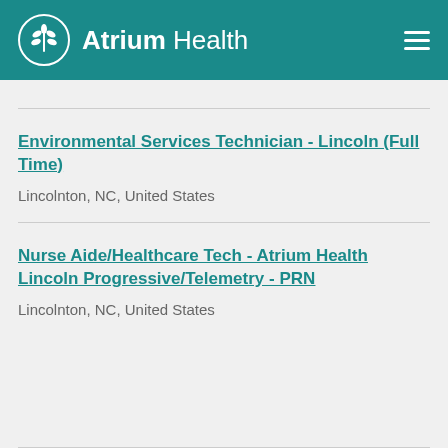Atrium Health
Environmental Services Technician - Lincoln (Full Time)
Lincolnton, NC, United States
Nurse Aide/Healthcare Tech - Atrium Health Lincoln Progressive/Telemetry - PRN
Lincolnton, NC, United States